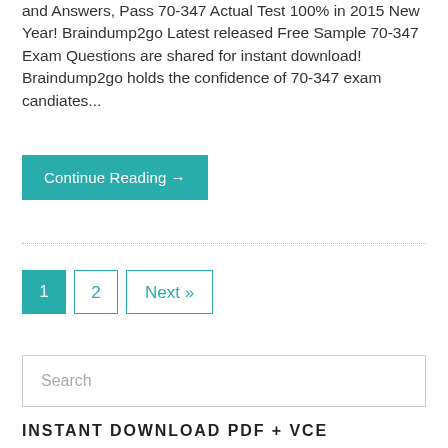and Answers, Pass 70-347 Actual Test 100% in 2015 New Year! Braindump2go Latest released Free Sample 70-347 Exam Questions are shared for instant download! Braindump2go holds the confidence of 70-347 exam candiates...
Continue Reading →
1   2   Next »
Search
INSTANT DOWNLOAD PDF + VCE